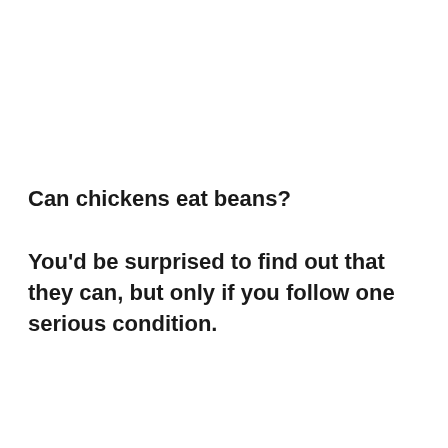Can chickens eat beans?
You'd be surprised to find out that they can, but only if you follow one serious condition.